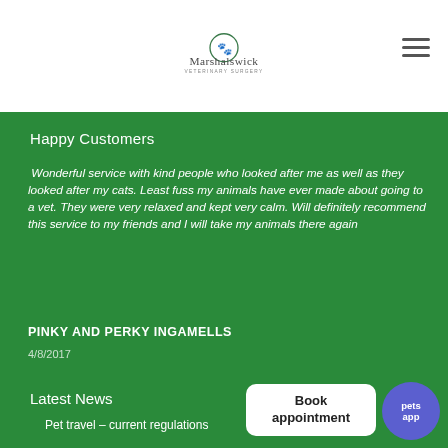Marshalswick Veterinary Surgery
Happy Customers
Wonderful service with kind people who looked after me as well as they looked after my cats. Least fuss my animals have ever made about going to a vet. They were very relaxed and kept very calm. Will definitely recommend this service to my friends and I will take my animals there again
PINKY AND PERKY INGAMELLS
4/8/2017
Latest News
Pet travel – current regulations